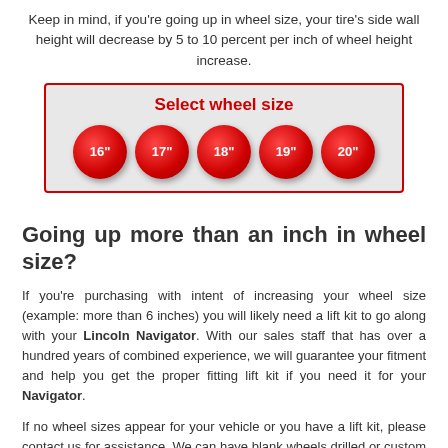Keep in mind, if you're going up in wheel size, your tire's side wall height will decrease by 5 to 10 percent per inch of wheel height increase.
[Figure (infographic): A UI widget with a red border and gray background labeled 'Select wheel size' with five red circular buttons labeled 16", 17", 18", 19", 20"]
Going up more than an inch in wheel size?
If you're purchasing with intent of increasing your wheel size (example: more than 6 inches) you will likely need a lift kit to go along with your Lincoln Navigator. With our sales staff that has over a hundred years of combined experience, we will guarantee your fitment and help you get the proper fitting lift kit if you need it for your Navigator.
If no wheel sizes appear for your vehicle or you have a lift kit, please contact us for assistance. We can have blank wheels drilled or custom built to your vehicle's specs. We also carry over 50+ other Custom